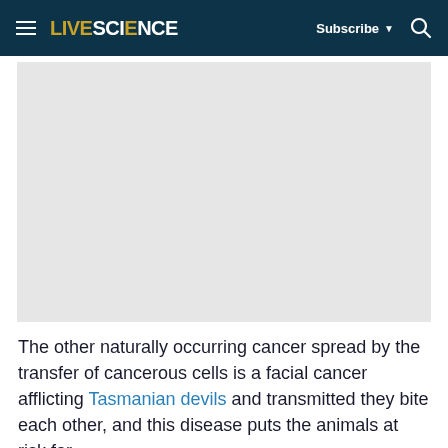LIVESCIENCE  Subscribe  🔍
[Figure (photo): Gray placeholder image for article photo]
The other naturally occurring cancer spread by the transfer of cancerous cells is a facial cancer afflicting Tasmanian devils and transmitted they bite each other, and this disease puts the animals at risk for